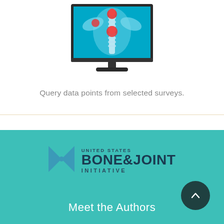[Figure (illustration): A desktop computer monitor displaying a 3D skeletal spine/neck X-ray visualization on a blue background, with red highlighted areas indicating pain or injury points on the spine.]
Query data points from selected surveys.
[Figure (logo): United States Bone & Joint Initiative logo with blue hourglass/bowtie shape icon and text]
Meet the Authors